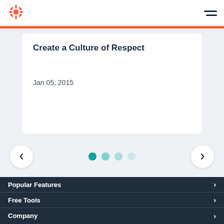HubSpot logo and navigation menu
Create a Culture of Respect
Jan 05, 2015
[Figure (other): Carousel navigation with left and right arrow buttons and four pagination dots, first dot active in teal]
Popular Features
Free Tools
Company